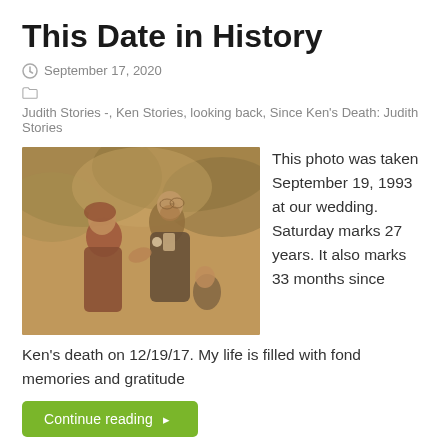This Date in History
September 17, 2020
Judith Stories -, Ken Stories, looking back, Since Ken's Death: Judith Stories
[Figure (photo): Sepia-toned vintage-style wedding photo showing a couple, the man in a dark suit with a boutonniere and the woman in a dark outfit, with greenery in the background and a child in the background]
This photo was taken September 19, 1993 at our wedding. Saturday marks 27 years. It also marks 33 months since Ken's death on 12/19/17. My life is filled with fond memories and gratitude
Continue reading